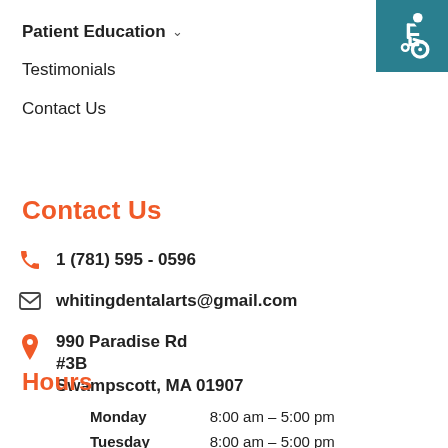[Figure (logo): Wheelchair accessibility icon in white on teal background]
Patient Education ∨
Testimonials
Contact Us
Contact Us
1 (781) 595 - 0596
whitingdentalarts@gmail.com
990 Paradise Rd
#3B
Swampscott, MA 01907
Hours
| Day | Hours |
| --- | --- |
| Monday | 8:00 am – 5:00 pm |
| Tuesday | 8:00 am – 5:00 pm |